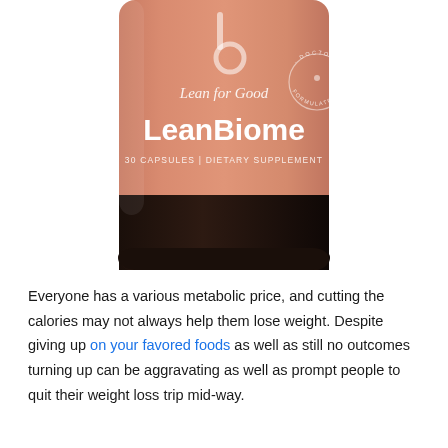[Figure (photo): A close-up photo of a LeanBiome dietary supplement bottle. The bottle has a salmon/terracotta colored label with the brand name 'Lean for Good', product name 'LeanBiome', and text '30 CAPSULES | DIETARY SUPPLEMENT'. A circular 'Doctor Formulated' badge appears on the right side of the label. The bottom of the bottle is dark/black glass.]
Everyone has a various metabolic price, and cutting the calories may not always help them lose weight. Despite giving up on your favored foods as well as still no outcomes turning up can be aggravating as well as prompt people to quit their weight loss trip mid-way.